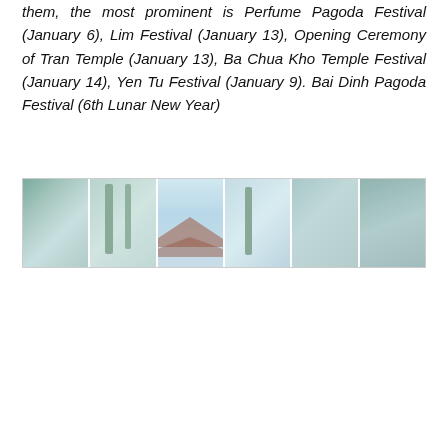them, the most prominent is Perfume Pagoda Festival (January 6), Lim Festival (January 13), Opening Ceremony of Tran Temple (January 13), Ba Chua Kho Temple Festival (January 14), Yen Tu Festival (January 9). Bai Dinh Pagoda Festival (6th Lunar New Year)
[Figure (photo): A panoramic strip of photos showing a misty pagoda with curved roof tiles and palm trees in a hazy blue-white atmosphere.]